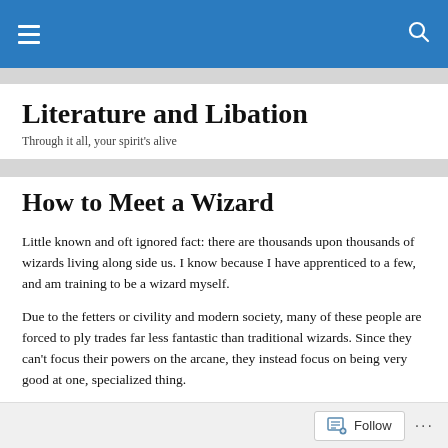Literature and Libation — navigation bar
Literature and Libation
Through it all, your spirit's alive
How to Meet a Wizard
Little known and oft ignored fact: there are thousands upon thousands of wizards living along side us. I know because I have apprenticed to a few, and am training to be a wizard myself.
Due to the fetters or civility and modern society, many of these people are forced to ply trades far less fantastic than traditional wizards. Since they can't focus their powers on the arcane, they instead focus on being very good at one, specialized thing.
Follow